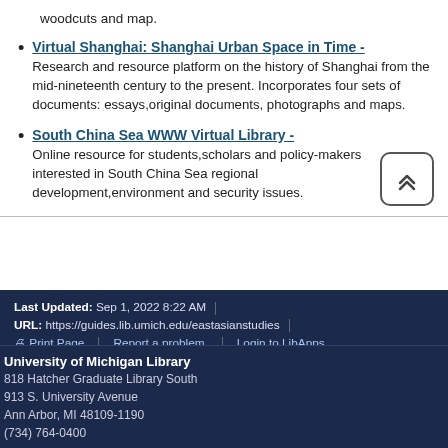woodcuts and map.
Virtual Shanghai: Shanghai Urban Space in Time - Research and resource platform on the history of Shanghai from the mid-nineteenth century to the present. Incorporates four sets of documents: essays,original documents, photographs and maps.
South China Sea WWW Virtual Library - Online resource for students,scholars and policy-makers interested in South China Sea regional development,environment and security issues.
Last Updated: Sep 1, 2022 8:22 AM | URL: https://guides.lib.umich.edu/eastasianstudies | Print Page   Report a problem.   Login to LibApps
University of Michigan Library
818 Hatcher Graduate Library South
913 S. University Avenue
Ann Arbor, MI 48109-1190
(734) 764-0400